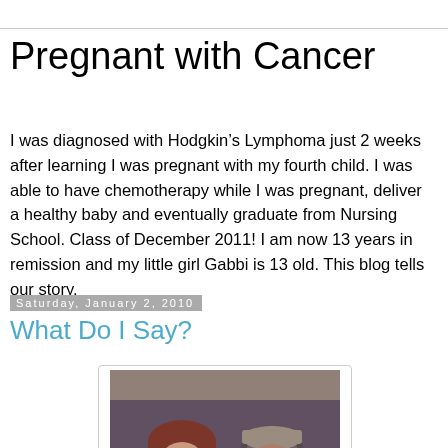Pregnant with Cancer
I was diagnosed with Hodgkin’s Lymphoma just 2 weeks after learning I was pregnant with my fourth child. I was able to have chemotherapy while I was pregnant, deliver a healthy baby and eventually graduate from Nursing School. Class of December 2011! I am now 13 years in remission and my little girl Gabbi is 13 old. This blog tells our story.
Saturday, January 2, 2010
What Do I Say?
[Figure (photo): A family photo showing a woman with red hair, a man in a light cap, and a small child, seated together indoors]